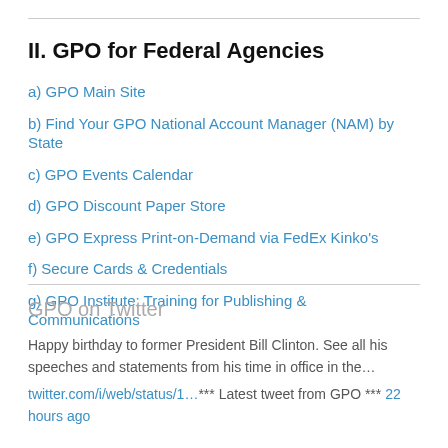II. GPO for Federal Agencies
a) GPO Main Site
b) Find Your GPO National Account Manager (NAM) by State
c) GPO Events Calendar
d) GPO Discount Paper Store
e) GPO Express Print-on-Demand via FedEx Kinko's
f) Secure Cards & Credentials
g) GPO Institute: Training for Publishing & Communications
GPO on Twitter
Happy birthday to former President Bill Clinton. See all his speeches and statements from his time in office in the…
twitter.com/i/web/status/1…*** Latest tweet from GPO *** 22 hours ago